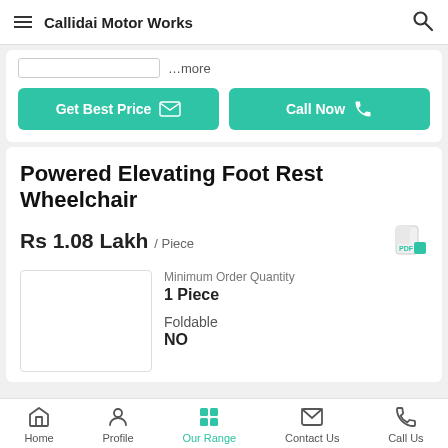Callidai Motor Works
...more
Get Best Price
Call Now
Powered Elevating Foot Rest Wheelchair
Rs 1.08 Lakh / Piece
Minimum Order Quantity
1 Piece
Foldable
NO
Home  Profile  Our Range  Contact Us  Call Us